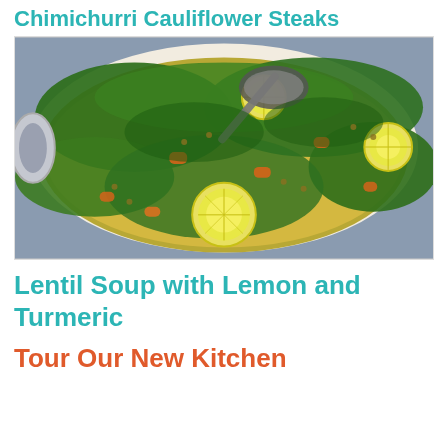Chimichurri Cauliflower Steaks
[Figure (photo): Overhead view of a large white Dutch oven filled with lentil soup with green kale, orange carrots, green lentils, fresh dill, and lemon slices, with a ladle visible.]
Lentil Soup with Lemon and Turmeric
Tour Our New Kitchen